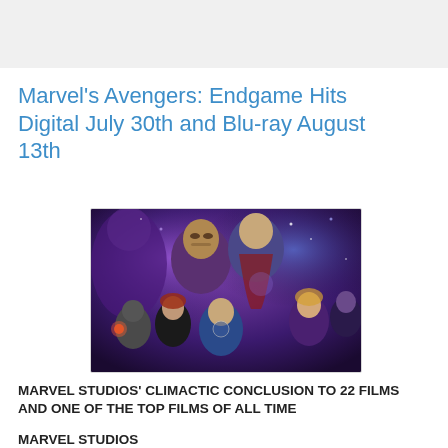Marvel's Avengers: Endgame Hits Digital July 30th and Blu-ray August 13th
[Figure (photo): Avengers: Endgame movie poster/promotional image showing multiple Marvel superhero characters including Iron Man, Thor, Captain America, Black Widow, War Machine, Captain Marvel, and Nebula against a purple cosmic background]
MARVEL STUDIOS' CLIMACTIC CONCLUSION TO 22 FILMS AND ONE OF THE TOP FILMS OF ALL TIME
MARVEL STUDIOS